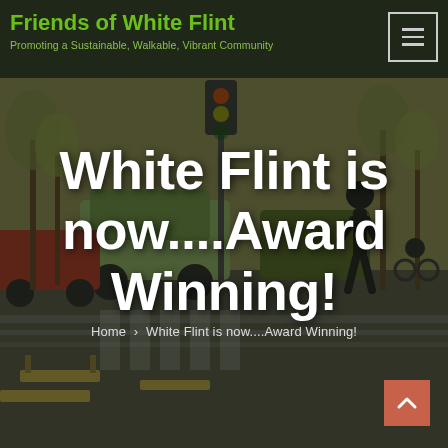Friends of White Flint
Promoting a Sustainable, Walkable, Vibrant Community
[Figure (photo): Urban streetscape rendering showing pedestrians, cyclists, and vehicles at an intersection with trees and benches, used as hero background image]
White Flint is now....Award Winning!
Home > White Flint is now....Award Winning!